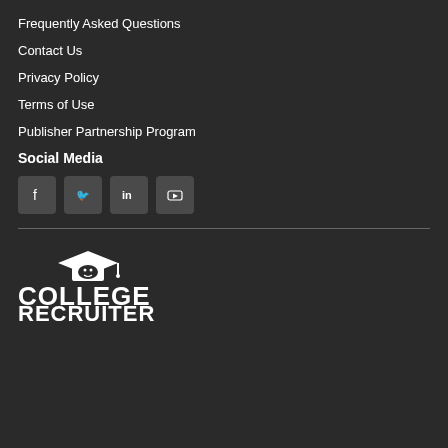Frequently Asked Questions
Contact Us
Privacy Policy
Terms of Use
Publisher Partnership Program
Social Media
[Figure (infographic): Social media icons: Facebook, Twitter, LinkedIn, YouTube]
[Figure (logo): College Recruiter logo — graduation cap above text COLLEGE RECRUITER in white on dark background]